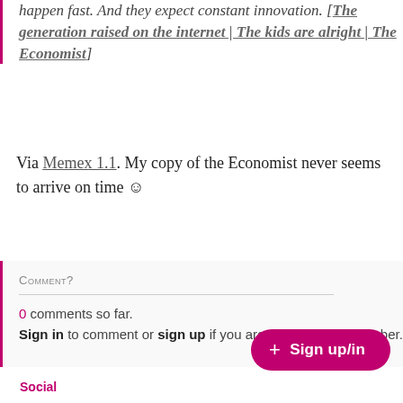happen fast. And they expect constant innovation. [The generation raised on the internet | The kids are alright | The Economist]
Via Memex 1.1. My copy of the Economist never seems to arrive on time ☺
Comment?
0 comments so far. Sign in to comment or sign up if you are not already a member.
Powered by Cove
+ Sign up/in
Social